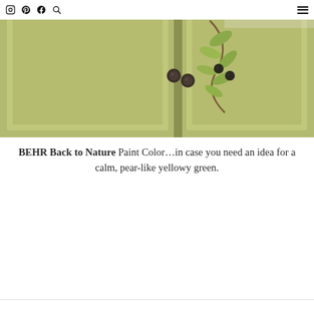Instagram Pinterest Facebook Search | Menu
[Figure (photo): Close-up of olive/sage green painted kitchen cabinet doors with dark round knob hardware and a decorative olive branch with dark berries and green leaves draped across the cabinets.]
BEHR Back to Nature Paint Color…in case you need an idea for a calm, pear-like yellowy green.